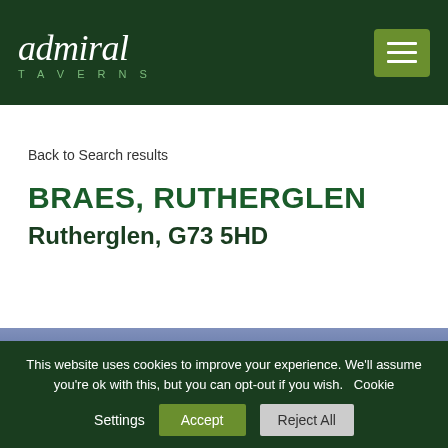admiral TAVERNS
Back to Search results
BRAES, RUTHERGLEN
Rutherglen, G73 5HD
[Figure (photo): Partial view of a building exterior, blue/purple sky or building facade]
This website uses cookies to improve your experience. We'll assume you're ok with this, but you can opt-out if you wish. Cookie Settings Accept Reject All